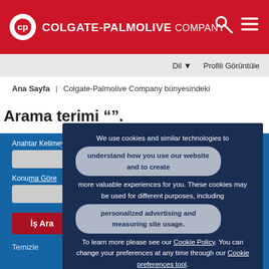[Figure (logo): Colgate-Palmolive Company logo with CP emblem on red header background]
Dil ▾   Profili Görüntüle
Ana Sayfa | Colgate-Palmolive Company bünyesindeki
Arama terimi "".
Anahtar Kelimeye Göre Ara
Konuma Göre
İş Ara
Temizle
We use cookies and similar technologies to understand how you use our website and to create more valuable experiences for you. These cookies may be used for different purposes, including personalized advertising and measuring site usage. To learn more please see our Cookie Policy. You can change your preferences at any time through our Cookie preferences tool.
Accept